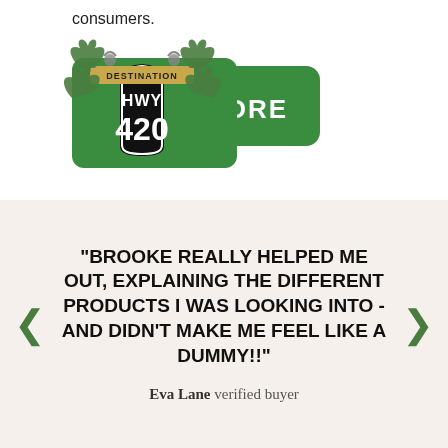consumers.
[Figure (logo): Destination HWY 420 MORE logo — green highway sign style with cannabis leaf decorations and shield shape showing '420', with a green rounded rectangle button labeled 'MORE']
"BROOKE REALLY HELPED ME OUT, EXPLAINING THE DIFFERENT PRODUCTS I WAS LOOKING INTO - AND DIDN'T MAKE ME FEEL LIKE A DUMMY!!"
Eva Lane verified buyer